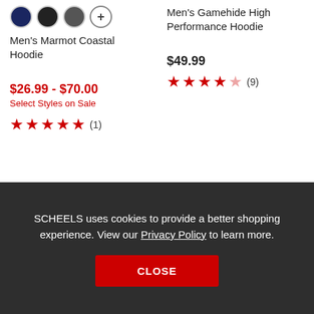[Figure (other): Color swatches for Men's Marmot Coastal Hoodie: navy, black, gray, plus button]
Men's Marmot Coastal Hoodie
$26.99 - $70.00
Select Styles on Sale
★★★★★ (1)
Men's Gamehide High Performance Hoodie
$49.99
★★★★☆ (9)
SCHEELS uses cookies to provide a better shopping experience. View our Privacy Policy to learn more.
CLOSE